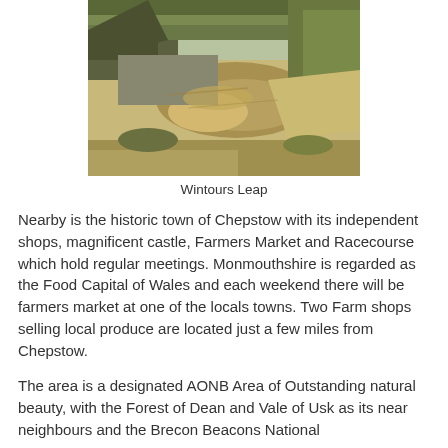[Figure (photo): Aerial view of Wintours Leap, showing a winding river bend with sandy banks and surrounding trees and vegetation.]
Wintours Leap
Nearby is the historic town of Chepstow with its independent shops, magnificent castle, Farmers Market and Racecourse which hold regular meetings. Monmouthshire is regarded as the Food Capital of Wales and each weekend there will be farmers market at one of the locals towns. Two Farm shops selling local produce are located just a few miles from Chepstow.
The area is a designated AONB Area of Outstanding natural beauty, with the Forest of Dean and Vale of Usk as its near neighbours and the Brecon Beacons National